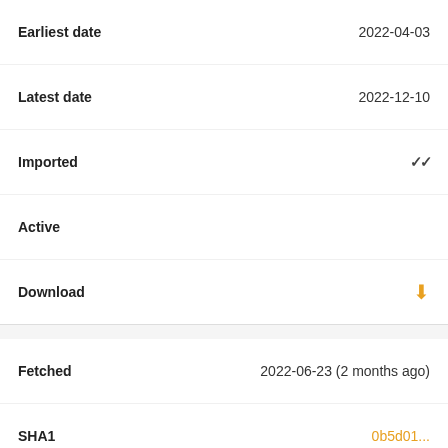| Field | Value |
| --- | --- |
| Earliest date | 2022-04-03 |
| Latest date | 2022-12-10 |
| Imported | ✔✔ |
| Active |  |
| Download | ⬇ |
| Field | Value |
| --- | --- |
| Fetched | 2022-06-23 (2 months ago) |
| SHA1 | 0b5d01... |
| Earliest date | 2022-04-03 |
| Latest date | 2022-12-10 |
| Imported | ✔✔ |
| Active |  |